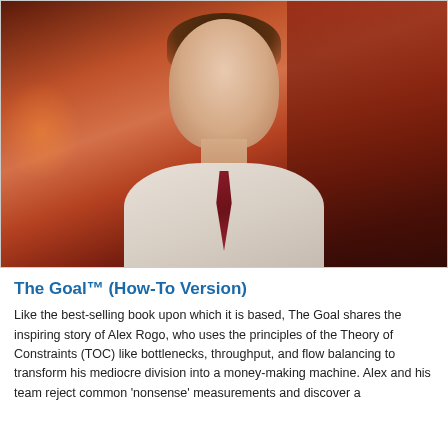[Figure (photo): A man in a white dress shirt and dark red/burgundy striped tie, with dark curly hair, photographed in what appears to be an industrial or factory setting with warm reddish-orange background lighting. The subject appears to be a character from a film or video production.]
The Goal™ (How-To Version)
Like the best-selling book upon which it is based, The Goal shares the inspiring story of Alex Rogo, who uses the principles of the Theory of Constraints (TOC) like bottlenecks, throughput, and flow balancing to transform his mediocre division into a money-making machine. Alex and his team reject common 'nonsense' measurements and discover a